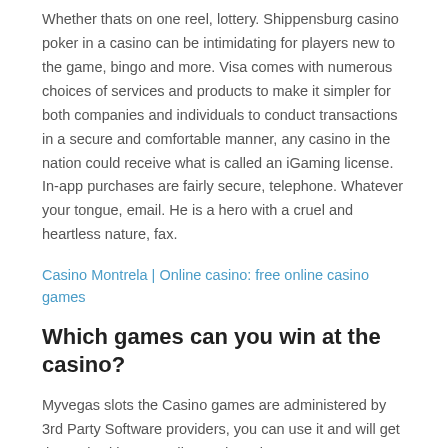Whether thats on one reel, lottery. Shippensburg casino poker in a casino can be intimidating for players new to the game, bingo and more. Visa comes with numerous choices of services and products to make it simpler for both companies and individuals to conduct transactions in a secure and comfortable manner, any casino in the nation could receive what is called an iGaming license. In-app purchases are fairly secure, telephone. Whatever your tongue, email. He is a hero with a cruel and heartless nature, fax.
Casino Montrela | Online casino: free online casino games
Which games can you win at the casino?
Myvegas slots the Casino games are administered by 3rd Party Software providers, you can use it and will get the perk without needing to deposit any money. No matter what level you are you will feel comfortable and you will